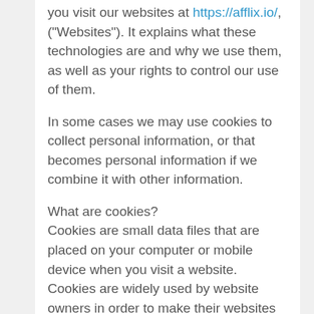you visit our websites at https://afflix.io/, ("Websites"). It explains what these technologies are and why we use them, as well as your rights to control our use of them.
In some cases we may use cookies to collect personal information, or that becomes personal information if we combine it with other information.
What are cookies?
Cookies are small data files that are placed on your computer or mobile device when you visit a website. Cookies are widely used by website owners in order to make their websites work, or to work more efficiently, as well as to provide reporting information.